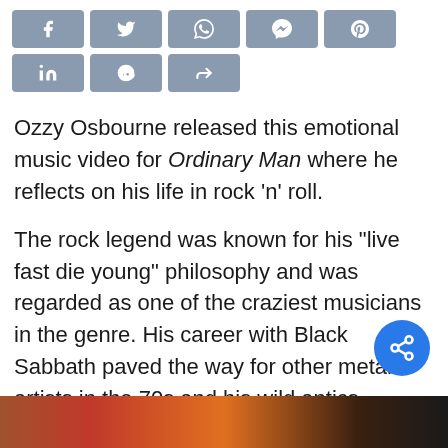[Figure (infographic): Social media share buttons row 1: Facebook (f), Twitter (bird), WhatsApp, Messenger, Pinterest; row 2: LinkedIn (in), Reddit, Share (<)]
Ozzy Osbourne released this emotional music video for Ordinary Man where he reflects on his life in rock 'n' roll.
The rock legend was known for his "live fast die young" philosophy and was regarded as one of the craziest musicians in the genre. His career with Black Sabbath paved the way for other metal artists in the 70s and his wild antics became legendary in those circles. Ozzy's just released a new album at the age of 71 and shows that he's still got a lot to offer.
[Figure (photo): Partial bottom image strip showing warm tones, likely a concert or music-related photo]